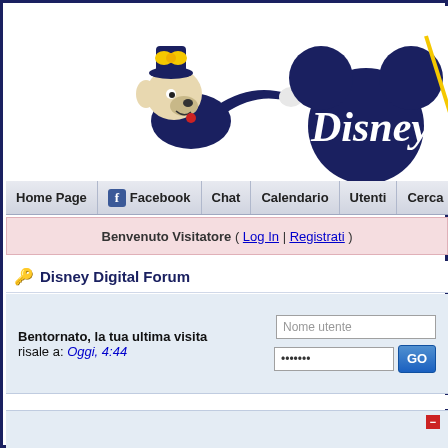[Figure (illustration): Disney logo header with Goofy character leaning and pointing, and Mickey Mouse ears silhouette with Disney text in dark navy blue]
Home Page | Facebook | Chat | Calendario | Utenti | Cerca | Aiuto
Benvenuto Visitatore ( Log In | Registrati )
Disney Digital Forum
Bentornato, la tua ultima visita risale a: Oggi, 4:44
Nome utente
....... GO